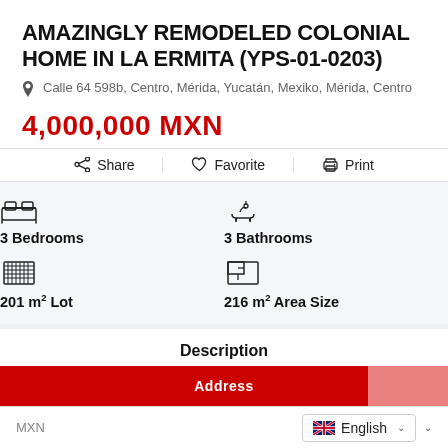AMAZINGLY REMODELED COLONIAL HOME IN LA ERMITA (YPS-01-0203)
Calle 64 598b, Centro, Mérida, Yucatán, Mexiko, Mérida, Centro
4,000,000 MXN
Share
Favorite
Print
3 Bedrooms
3 Bathrooms
201 m² Lot
216 m² Area Size
Description
Address
MXN   English